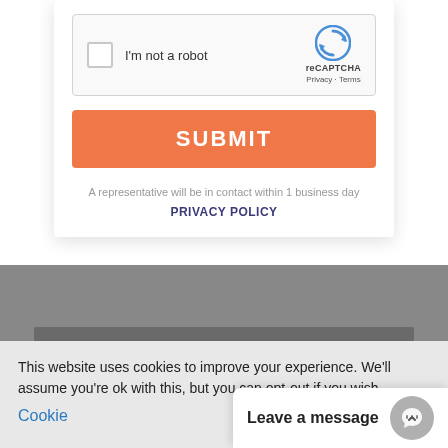[Figure (screenshot): reCAPTCHA checkbox widget with 'I'm not a robot' label and reCAPTCHA logo/branding]
SUBMIT
A representative will be in contact within 1 business day
PRIVACY POLICY
[Figure (screenshot): Gray website section with darker horizontal bar at bottom]
This website uses cookies to improve your experience. We'll assume you're ok with this, but you can opt-out if you wish.
Cookie
Leave a message